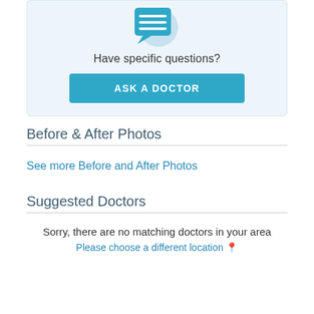[Figure (illustration): Chat bubble icon with horizontal lines representing text, on a light blue circular background]
Have specific questions?
ASK A DOCTOR
Before & After Photos
See more Before and After Photos
Suggested Doctors
Sorry, there are no matching doctors in your area
Please choose a different location 📍